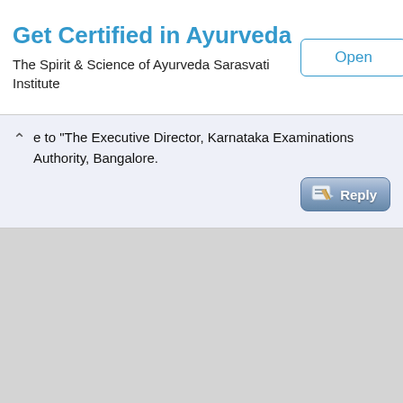Get Certified in Ayurveda
The Spirit & Science of Ayurveda Sarasvati Institute
[Figure (other): Open button with blue border and text]
e to "The Executive Director, Karnataka Examinations Authority, Bangalore.
[Figure (other): Reply button with pencil icon]